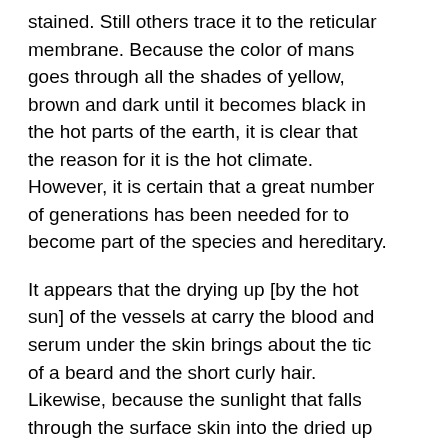stained. Still others trace it to the reticular membrane. Because the color of mans goes through all the shades of yellow, brown and dark until it becomes black in the hot parts of the earth, it is clear that the reason for it is the hot climate. However, it is certain that a great number of generations has been needed for to become part of the species and hereditary.
It appears that the drying up [by the hot sun] of the vessels at carry the blood and serum under the skin brings about the tic of a beard and the short curly hair. Likewise, because the sunlight that falls through the surface skin into the dried up vessels eats up the reticular membrane, there arises the appearance of a black color.
How such a coincidental thing as color could, however, become part of a species cannot be explained so easily.